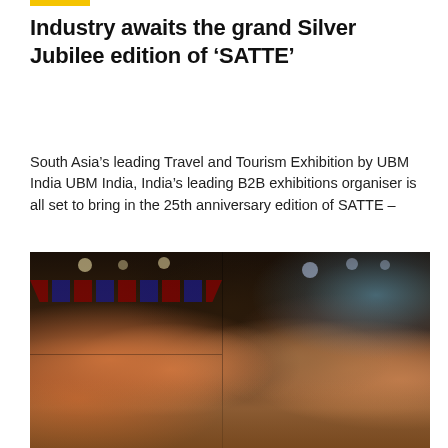Industry awaits the grand Silver Jubilee edition of ‘SATTE’
South Asia’s leading Travel and Tourism Exhibition by UBM India UBM India, India’s leading B2B exhibitions organiser is all set to bring in the 25th anniversary edition of SATTE –
[Figure (photo): Group photo of people sitting together at what appears to be a social gathering or event, with decorative bunting/triangular flags and ambient lighting in the background. Several people visible holding drinks.]